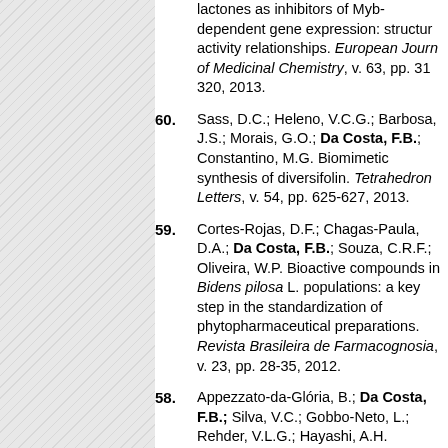(continued from previous page) lactones as inhibitors of Myb-dependent gene expression: structure-activity relationships. European Journal of Medicinal Chemistry, v. 63, pp. 313-320, 2013.
60. Sass, D.C.; Heleno, V.C.G.; Barbosa, J.S.; Morais, G.O.; Da Costa, F.B.; Constantino, M.G. Biomimetic synthesis of diversifolin. Tetrahedron Letters, v. 54, pp. 625-627, 2013.
59. Cortes-Rojas, D.F.; Chagas-Paula, D.A.; Da Costa, F.B.; Souza, C.R.F.; Oliveira, W.P. Bioactive compounds in Bidens pilosa L. populations: a key step in the standardization of phytopharmaceutical preparations. Revista Brasileira de Farmacognosia, v. 23, pp. 28-35, 2012.
58. Appezzato-da-Gloria, B.; Da Costa, F.B.; Silva, V.C.; Gobbo-Neto, L.; Rehder, V.L.G.; Hayashi, A.H. (continues...)